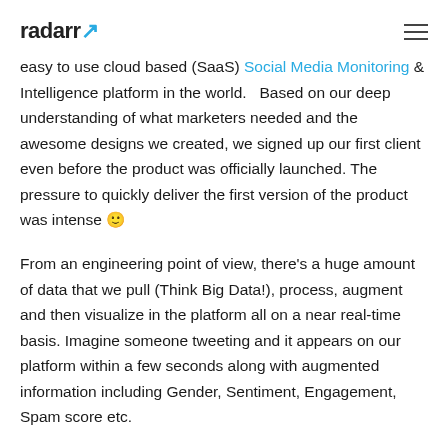radarr
easy to use cloud based (SaaS) Social Media Monitoring & Intelligence platform in the world.   Based on our deep understanding of what marketers needed and the awesome designs we created, we signed up our first client even before the product was officially launched. The pressure to quickly deliver the first version of the product was intense 🙂
From an engineering point of view, there's a huge amount of data that we pull (Think Big Data!), process, augment and then visualize in the platform all on a near real-time basis. Imagine someone tweeting and it appears on our platform within a few seconds along with augmented information including Gender, Sentiment, Engagement, Spam score etc.
The evolution of Radarr has already seen a few stages of growth. The graph below shows how 20/Twenty data has